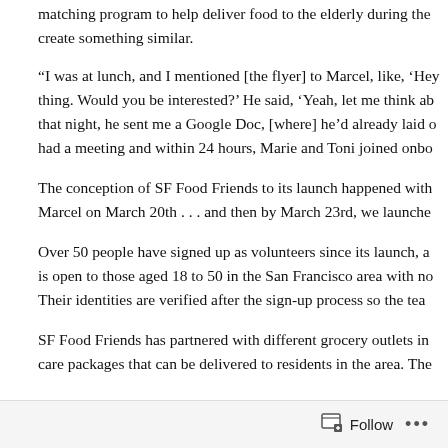matching program to help deliver food to the elderly during the create something similar.
“I was at lunch, and I mentioned [the flyer] to Marcel, like, ‘Hey thing. Would you be interested?’ He said, ‘Yeah, let me think ab that night, he sent me a Google Doc, [where] he’d already laid o had a meeting and within 24 hours, Marie and Toni joined onbo
The conception of SF Food Friends to its launch happened with Marcel on March 20th . . . and then by March 23rd, we launche
Over 50 people have signed up as volunteers since its launch, a is open to those aged 18 to 50 in the San Francisco area with no Their identities are verified after the sign-up process so the tea
SF Food Friends has partnered with different grocery outlets in care packages that can be delivered to residents in the area. The
Follow ...